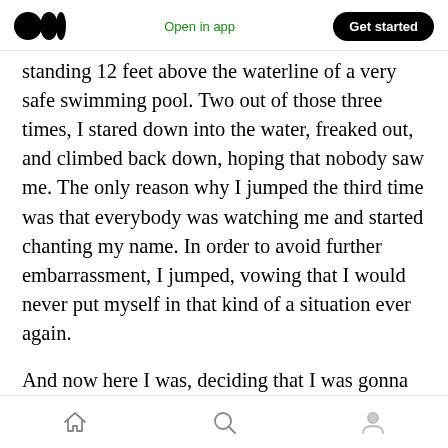Medium logo | Open in app | Get started
standing 12 feet above the waterline of a very safe swimming pool. Two out of those three times, I stared down into the water, freaked out, and climbed back down, hoping that nobody saw me. The only reason why I jumped the third time was that everybody was watching me and started chanting my name. In order to avoid further embarrassment, I jumped, vowing that I would never put myself in that kind of a situation ever again.
And now here I was, deciding that I was gonna walk a tightrope more than 16 feet in the air. The
Home | Search | Profile